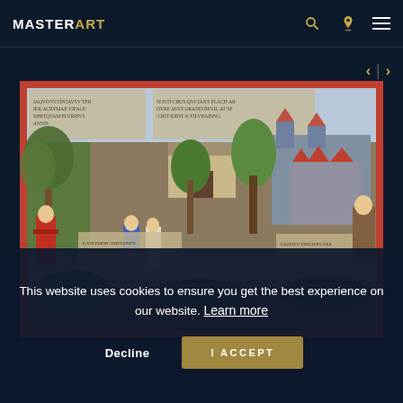MASTERART
[Figure (photo): Medieval tapestry depicting figures in a pastoral scene with trees, castle buildings, and inscriptions in the upper border]
This website uses cookies to ensure you get the best experience on our website. Learn more
Decline  I ACCEPT